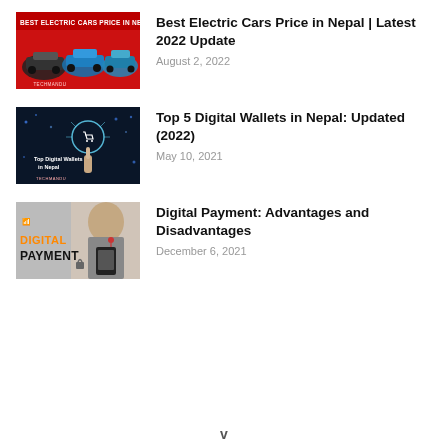[Figure (photo): Red background promotional image showing multiple electric cars with text 'BEST ELECTRIC CARS PRICE IN NEPAL' and Techmandu branding]
Best Electric Cars Price in Nepal | Latest 2022 Update
August 2, 2022
[Figure (photo): Dark blue background with glowing shopping cart lightbulb graphic, text 'Top Digital Wallets in Nepal' and Techmandu branding]
Top 5 Digital Wallets in Nepal: Updated (2022)
May 10, 2021
[Figure (photo): Photo of person holding phone with text 'DIGITAL PAYMENT' overlaid in bold orange and black letters]
Digital Payment: Advantages and Disadvantages
December 6, 2021
v